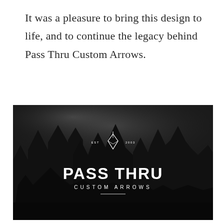It was a pleasure to bring this design to life, and to continue the legacy behind Pass Thru Custom Arrows.
[Figure (logo): Dark moody photo of a misty forest with pine trees at night/dusk. Overlaid with a white logo: a diamond/arrowhead icon with 'EST 2003' on either side, large bold text 'PASS THRU', smaller spaced text 'CUSTOM ARROWS', and a thin horizontal line below.]